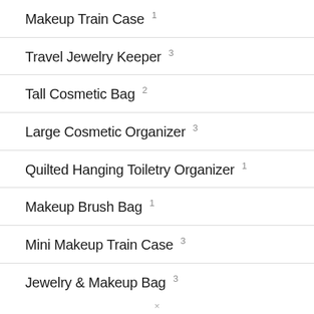Makeup Train Case 1
Travel Jewelry Keeper 3
Tall Cosmetic Bag 2
Large Cosmetic Organizer 3
Quilted Hanging Toiletry Organizer 1
Makeup Brush Bag 1
Mini Makeup Train Case 3
Jewelry & Makeup Bag 3